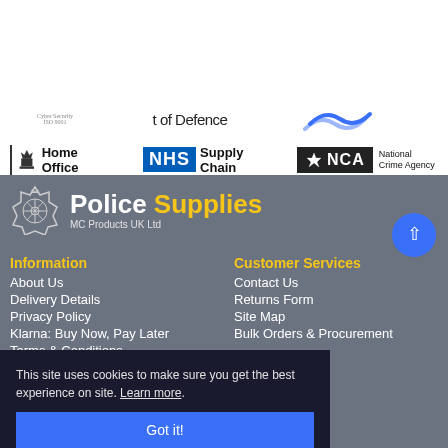[Figure (logo): Top banner with government organisation logos: Ministry of Defence (with blue wave graphic), Home Office, NHS Supply Chain, National Crime Agency (NCA)]
[Figure (logo): Police Supplies MC Products UK Ltd logo with police badge emblem, white and yellow text on grey background]
Information
About Us
Delivery Details
Privacy Policy
Klarna: Buy Now, Pay Later
Terms & Conditions
Customer Services
Contact Us
Returns Form
Site Map
Bulk Orders & Procurement
This site uses cookies to make sure you get the best experience on site. Learn more.
Got it!
Wishlist